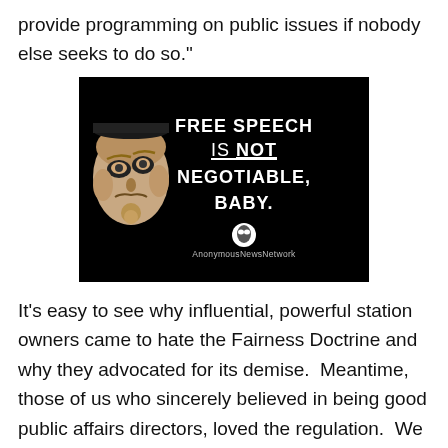provide programming on public issues if nobody else seeks to do so."
[Figure (illustration): Black background image with a Guy Fawkes mask on the left and white text reading 'FREE SPEECH IS NOT NEGOTIABLE, BABY.' with AnonymousNewsNetwork logo and text at the bottom.]
It's easy to see why influential, powerful station owners came to hate the Fairness Doctrine and why they advocated for its demise.  Meantime, those of us who sincerely believed in being good public affairs directors, loved the regulation.  We could ensure that all sides of a debate could be heard and not worry about losing our jobs